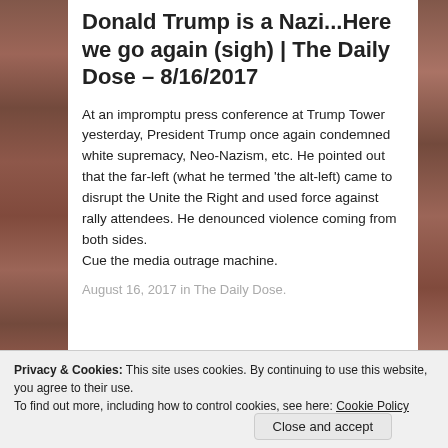Donald Trump is a Nazi...Here we go again (sigh) | The Daily Dose – 8/16/2017
At an impromptu press conference at Trump Tower yesterday, President Trump once again condemned white supremacy, Neo-Nazism, etc. He pointed out that the far-left (what he termed 'the alt-left) came to disrupt the Unite the Right and used force against rally attendees. He denounced violence coming from both sides.
Cue the media outrage machine.
August 16, 2017 in The Daily Dose.
Privacy & Cookies: This site uses cookies. By continuing to use this website, you agree to their use.
To find out more, including how to control cookies, see here: Cookie Policy
Close and accept